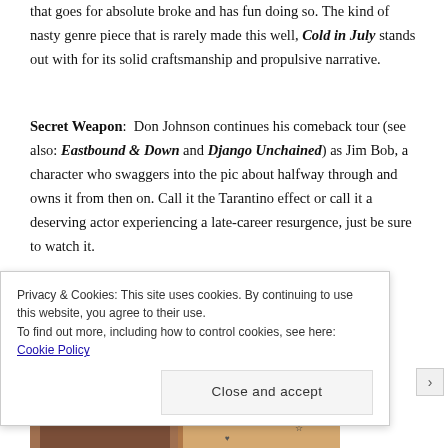that goes for absolute broke and has fun doing so. The kind of nasty genre piece that is rarely made this well, Cold in July stands out with for its solid craftsmanship and propulsive narrative.
Secret Weapon:  Don Johnson continues his comeback tour (see also: Eastbound & Down and Django Unchained) as Jim Bob, a character who swaggers into the pic about halfway through and owns it from then on. Call it the Tarantino effect or call it a deserving actor experiencing a late-career resurgence, just be sure to watch it.
[Figure (photo): Movie still showing a woman with dark hair standing in front of a graffiti-covered wall with writing including 'Get out', 'Danielle', and other graffiti tags.]
Privacy & Cookies: This site uses cookies. By continuing to use this website, you agree to their use.
To find out more, including how to control cookies, see here: Cookie Policy
Close and accept